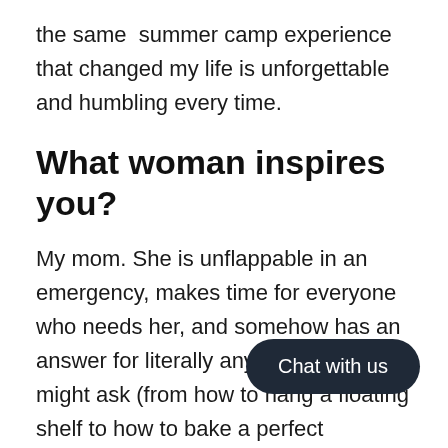the same  summer camp experience that changed my life is unforgettable and humbling every time.
What woman inspires you?
My mom. She is unflappable in an emergency, makes time for everyone who needs her, and somehow has an answer for literally any question I might ask (from how to hang a floating shelf to how to bake a perfect chocolate cake to advice about [my] career).  She is the most reliable and most